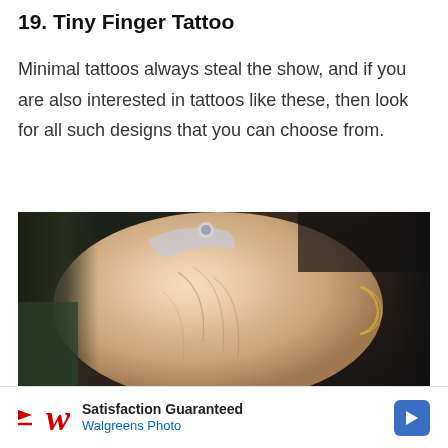19. Tiny Finger Tattoo
Minimal tattoos always steal the show, and if you are also interested in tattoos like these, then look for all such designs that you can choose from.
[Figure (photo): Close-up photograph of a human hand with bracelets, showing the back of the hand with visible veins and skin texture, against a dark background.]
[Figure (infographic): Advertisement banner for Walgreens Photo with text 'Satisfaction Guaranteed' and 'Walgreens Photo', featuring the Walgreens logo and a blue arrow button.]